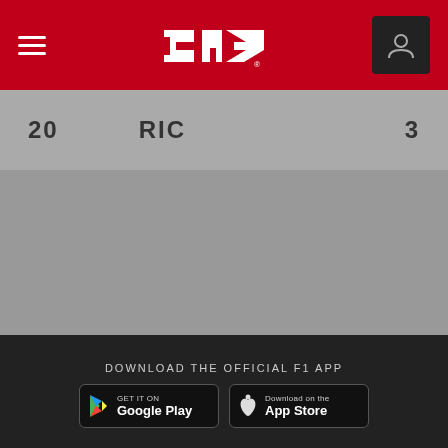F1 navigation bar with hamburger menu, F1 logo, and user icon
20   RIC   3
[Figure (screenshot): Gray content area showing race position row and placeholder content area]
DOWNLOAD THE OFFICIAL F1 APP
[Figure (logo): Google Play store download button]
[Figure (logo): Apple App Store download button]
[Figure (infographic): Social media icons: Facebook, Twitter, Instagram, YouTube]
Our partners >
[Figure (logo): Rolex logo]
[Figure (logo): Pirelli 150 logo]
[Figure (logo): Heineken 00 logo]
[Figure (logo): Emirates logo]